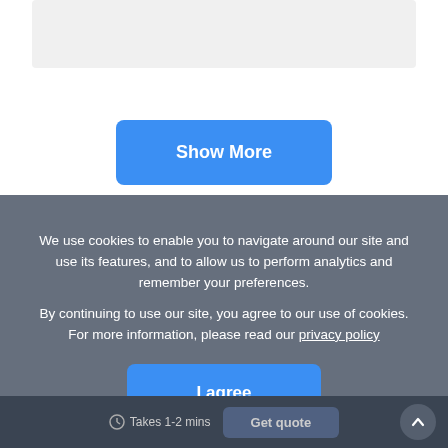[Figure (screenshot): Gray placeholder bar at top of page]
Show More
We use cookies to enable you to navigate around our site and use its features, and to allow us to perform analytics and remember your preferences.
By continuing to use our site, you agree to our use of cookies. For more information, please read our privacy policy
I agree
Takes 1-2 mins
Get quote